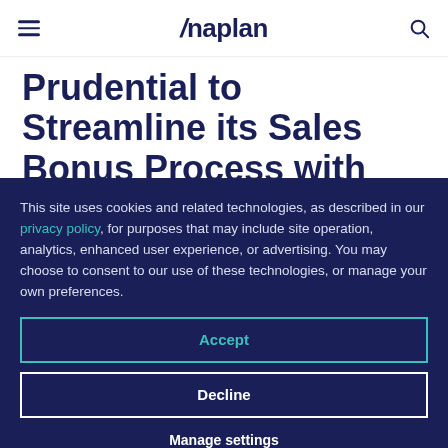Anaplan
Prudential to Streamline its Sales Bonus Process with Anaplan
Prudential UK and Europe selects
This site uses cookies and related technologies, as described in our privacy policy, for purposes that may include site operation, analytics, enhanced user experience, or advertising. You may choose to consent to our use of these technologies, or manage your own preferences.
Accept
Decline
Manage settings